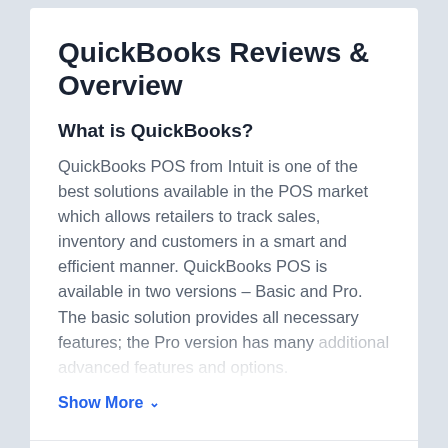QuickBooks Reviews & Overview
What is QuickBooks?
QuickBooks POS from Intuit is one of the best solutions available in the POS market which allows retailers to track sales, inventory and customers in a smart and efficient manner. QuickBooks POS is available in two versions – Basic and Pro. The basic solution provides all necessary features; the Pro version has many additional advanced features and options.
Show More ∨
Company:  Intuit Inc.